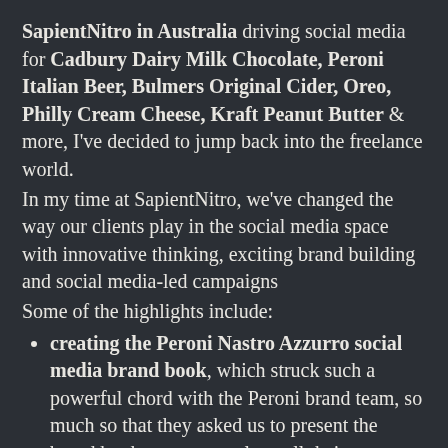SapientNitro in Australia driving social media for Cadbury Dairy Milk Chocolate, Peroni Italian Beer, Bulmers Original Cider, Oreo, Philly Cream Cheese, Kraft Peanut Butter & more, I've decided to jump back into the freelance world.
In my time at SapientNitro, we've changed the way our clients play in the social media space with innovative thinking, exciting brand building and social media-led campaigns
Some of the highlights include:
creating the Peroni Nastro Azzurro social media brand book, which struck such a powerful chord with the Peroni brand team, so much so that they asked us to present the brand book as an example to all their agency partners and paved the way for a complete transition of Peroni into a digital brand with a new digital ecosystem